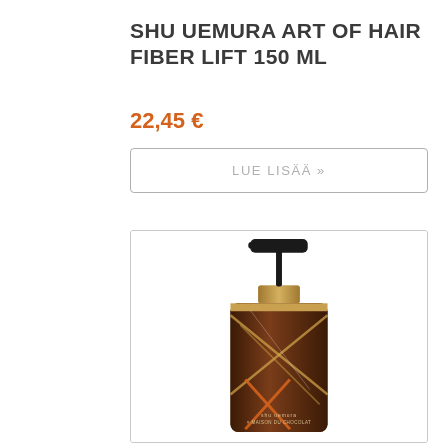SHU UEMURA ART OF HAIR FIBER LIFT 150 ML
22,45 €
LUE LISÄÄ »
[Figure (photo): Shu Uemura Art of Hair product bottle with pump dispenser — dark brown/chocolate colored bottle with an X pattern design and shu uemura / Maison du Chocolat branding, featuring a black pump top]